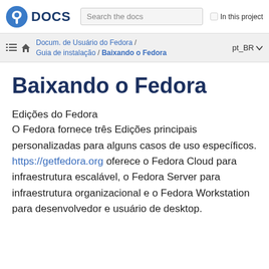Fedora DOCS | Search the docs | In this project
Docum. de Usuário do Fedora / Guia de instalação / Baixando o Fedora | pt_BR
Baixando o Fedora
Edições do Fedora
O Fedora fornece três Edições principais personalizadas para alguns casos de uso específicos. https://getfedora.org oferece o Fedora Cloud para infraestrutura escalável, o Fedora Server para infraestrutura organizacional e o Fedora Workstation para desenvolvedor e usuário de desktop.